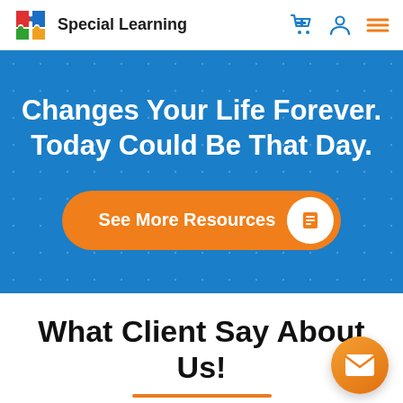Special Learning
Changes Your Life Forever. Today Could Be That Day.
See More Resources
What Client Say About Us!
[Figure (illustration): Orange mail/chat button in bottom right corner]